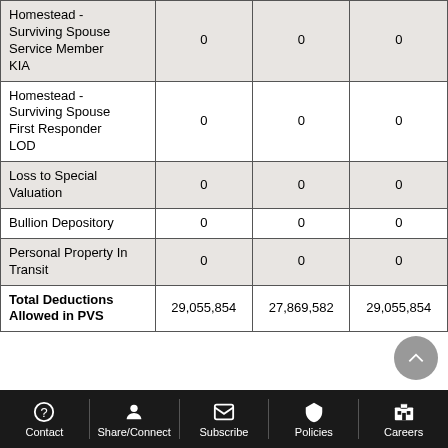|  |  |  |  |
| --- | --- | --- | --- |
| Homestead - Surviving Spouse Service Member KIA | 0 | 0 | 0 |
| Homestead - Surviving Spouse First Responder LOD | 0 | 0 | 0 |
| Loss to Special Valuation | 0 | 0 | 0 |
| Bullion Depository | 0 | 0 | 0 |
| Personal Property In Transit | 0 | 0 | 0 |
| Total Deductions Allowed in PVS | 29,055,854 | 27,869,582 | 29,055,854 |
Contact | Share/Connect | Subscribe | Policies | Careers